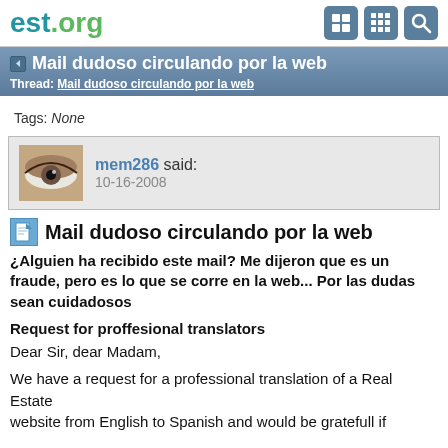est.org
Mail dudoso circulando por la web
Thread: Mail dudoso circulando por la web
Tags: None
mem286 said:
10-16-2008
Mail dudoso circulando por la web
¿Alguien ha recibido este mail? Me dijeron que es un fraude, pero es lo que se corre en la web... Por las dudas sean cuidadosos
Request for proffesional translators
Dear Sir, dear Madam,
We have a request for a professional translation of a Real Estate
website from English to Spanish and would be gratefull if